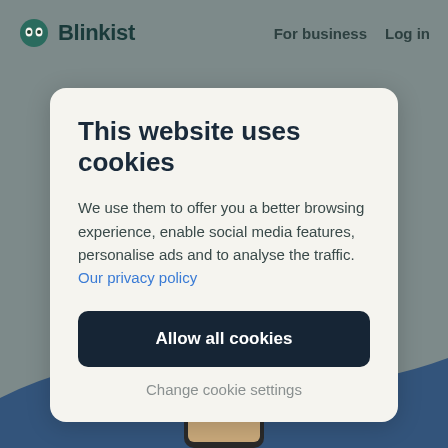Blinkist   For business   Log in
This website uses cookies
We use them to offer you a better browsing experience, enable social media features, personalise ads and to analyse the traffic. Our privacy policy
Allow all cookies
Change cookie settings
[Figure (screenshot): Blinkist website background with a partial phone mockup visible at the bottom]